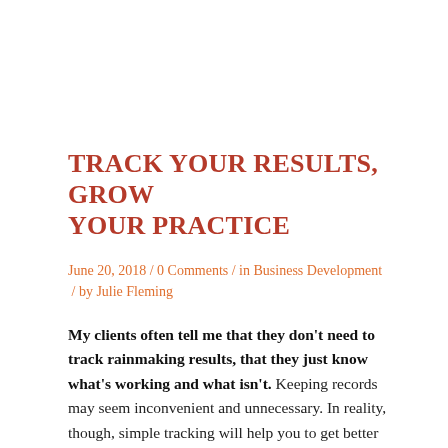TRACK YOUR RESULTS, GROW YOUR PRACTICE
June 20, 2018 / 0 Comments / in Business Development / by Julie Fleming
My clients often tell me that they don't need to track rainmaking results, that they just know what's working and what isn't. Keeping records may seem inconvenient and unnecessary. In reality, though, simple tracking will help you to get better results in business development.